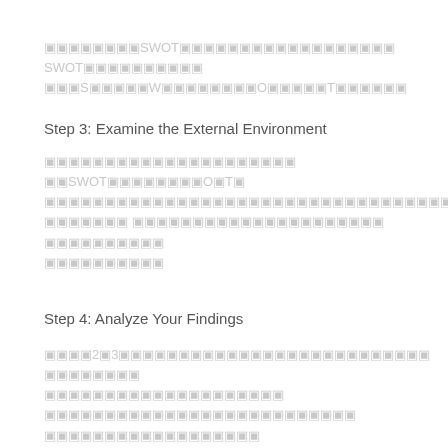▣▣▣▣▣▣▣▣SWOT▣▣▣▣▣▣▣▣▣▣▣▣▣▣▣▣▣▣ SWOT▣▣▣▣▣▣▣▣▣▣▣S▣▣▣▣▣W▣▣▣▣▣▣▣▣O▣▣▣▣▣T▣▣▣▣▣▣
Step 3: Examine the External Environment
▣▣▣▣▣▣▣▣▣▣▣▣▣▣▣▣▣▣▣▣▣ ▣▣SWOT▣▣▣▣▣▣▣▣O▣T▣▣▣▣▣▣▣▣▣▣▣▣▣▣▣▣▣▣▣▣▣▣▣▣▣▣▣▣▣▣▣▣▣▣▣▣▣▣▣▣▣▣▣▣▣▣▣▣▣▣▣▣▣▣▣▣▣▣▣▣▣▣▣▣▣▣▣▣▣▣▣▣▣▣▣▣▣▣▣▣▣▣▣▣▣▣▣▣▣▣▣▣▣▣▣
Step 4: Analyze Your Findings
▣▣▣▣2▣3▣▣▣▣▣▣▣▣▣▣▣▣▣▣▣▣▣▣▣▣▣▣▣▣▣▣ ▣▣▣▣▣▣▣▣▣▣▣▣▣▣▣▣▣▣▣▣▣▣▣▣▣ ▣▣▣▣▣▣▣▣▣▣▣▣▣▣▣▣▣▣▣▣▣▣▣▣▣▣▣▣▣▣▣▣▣▣▣▣▣▣▣▣▣▣▣▣▣▣▣▣▣▣